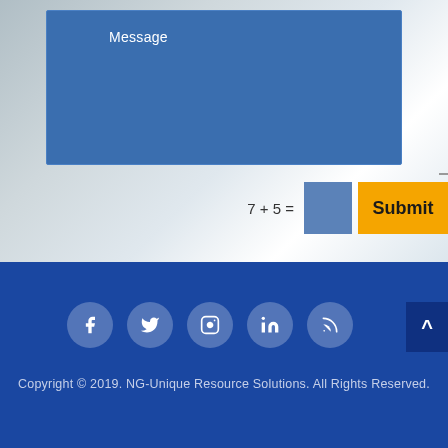[Figure (screenshot): Message textarea field with blue background, showing 'Message' placeholder text in white]
7 + 5 =
[Figure (screenshot): Blue square captcha answer input field]
Submit
[Figure (infographic): Footer with social media icons (Facebook, Twitter, Instagram, LinkedIn, RSS) as white icons in rounded blue circles on dark blue background, with scroll-to-top arrow button]
Copyright © 2019. NG-Unique Resource Solutions. All Rights Reserved.